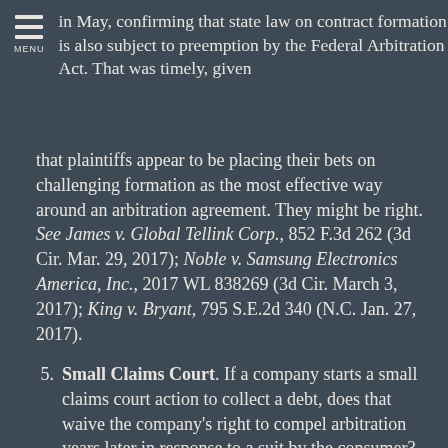in May, confirming that state law on contract formation is also subject to preemption by the Federal Arbitration Act.  That was timely, given
that plaintiffs appear to be placing their bets on challenging formation as the most effective way around an arbitration agreement.  They might be right.  See James v. Global Tellink Corp., 852 F.3d 262 (3d Cir. Mar. 29, 2017); Noble v. Samsung Electronics America, Inc., 2017 WL 838269 (3d Cir. March 3, 2017); King v. Bryant, 795 S.E.2d 340 (N.C. Jan. 27, 2017).
5. Small Claims Court.  If a company starts a small claims court action to collect a debt, does that waive the company's right to compel arbitration years later in response to a suit by the consumer?  This is a question multiple